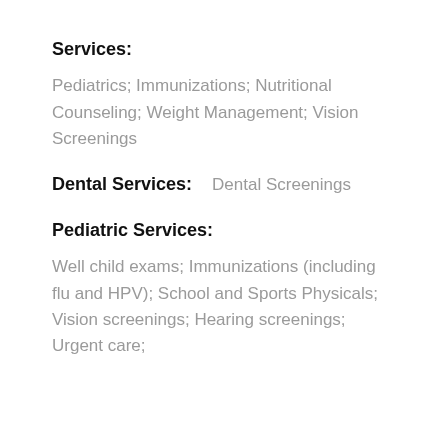Services:
Pediatrics; Immunizations; Nutritional Counseling; Weight Management; Vision Screenings
Dental Services:
Dental Screenings
Pediatric Services:
Well child exams; Immunizations (including flu and HPV); School and Sports Physicals; Vision screenings; Hearing screenings; Urgent care;